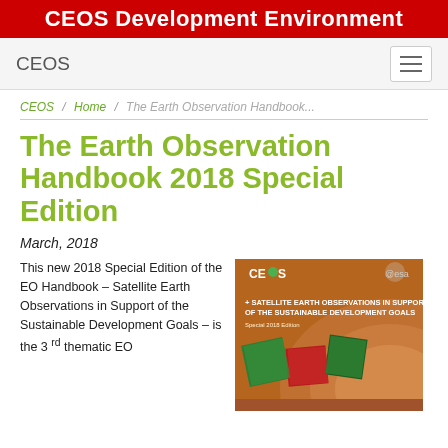CEOS Development Environment
CEOS
CEOS / Home / The Earth Observation Handbook...
The Earth Observation Handbook 2018 Special Edition
March, 2018
This new 2018 Special Edition of the EO Handbook – Satellite Earth Observations in Support of the Sustainable Development Goals – is the 3rd thematic EO
[Figure (photo): Book cover of 'Satellite Earth Observations in Support of the Sustainable Development Goals Special 2018 Edition' showing CEOS and ESA logos on an orange/brown background with satellite imagery tiles]